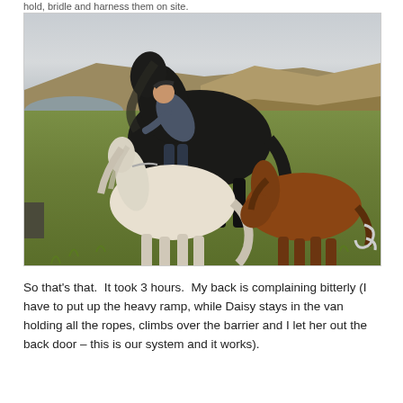hold, bridle and harness them on site.
[Figure (photo): Outdoor scene with a white Shetland pony in the foreground, a dark horse behind, and a brown pony grazing to the right. A person leans over the dark horse. Background shows open moorland, a small loch, and distant hills under an overcast sky.]
So that's that.  It took 3 hours.  My back is complaining bitterly (I have to put up the heavy ramp, while Daisy stays in the van holding all the ropes, climbs over the barrier and I let her out the back door – this is our system and it works).